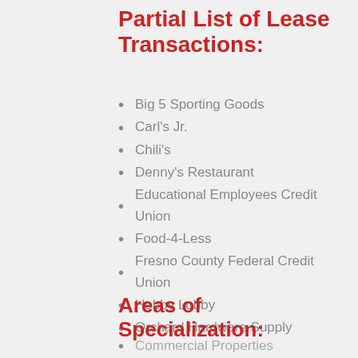Partial List of Lease Transactions:
Big 5 Sporting Goods
Carl's Jr.
Chili's
Denny's Restaurant
Educational Employees Credit Union
Food-4-Less
Fresno County Federal Credit Union
Hobby Lobby
Orchard Hardware Supply
Areas of Specialization:
Commercial Properties